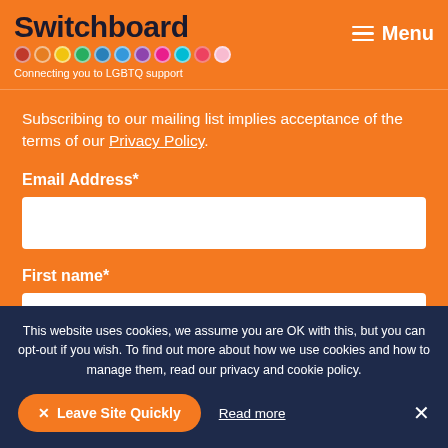Switchboard — Connecting you to LGBTQ support
Subscribing to our mailing list implies acceptance of the terms of our Privacy Policy.
Email Address*
First name*
This website uses cookies, we assume you are OK with this, but you can opt-out if you wish. To find out more about how we use cookies and how to manage them, read our privacy and cookie policy.
✕ Leave Site Quickly
Read more